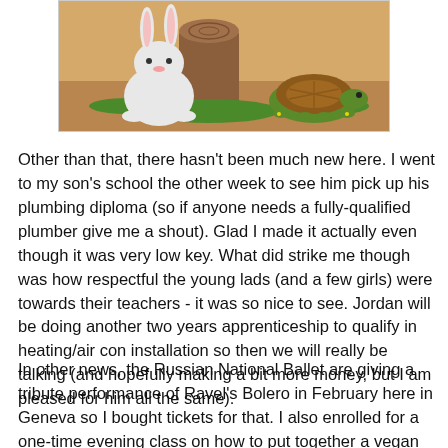[Figure (illustration): Cartoon illustration of a white rabbit/hare sitting in front of a tree stump and a green turtle/tortoise, depicting the classic fable of the tortoise and the hare.]
Other than that, there hasn't been much new here. I went to my son's school the other week to see him pick up his plumbing diploma (so if anyone needs a fully-qualified plumber give me a shout). Glad I made it actually even though it was very low key. What did strike me though was how respectful the young lads (and a few girls) were towards their teachers - it was so nice to see. Jordan will be doing another two years apprenticeship to qualify in heating/air con installation so then we will really be talking (and hopefully making a bit more money, but I am pleased for him all the same).
In other news, the Russian National Ballet are giving a tribute performance of Ravel's Bolero in February here in Geneva so I bought tickets for that. I also enrolled for a one-time evening class on how to put together a vegan buffet, also taking place in February. It's funny really, because as I would like to lose some weight before the wedding in July I